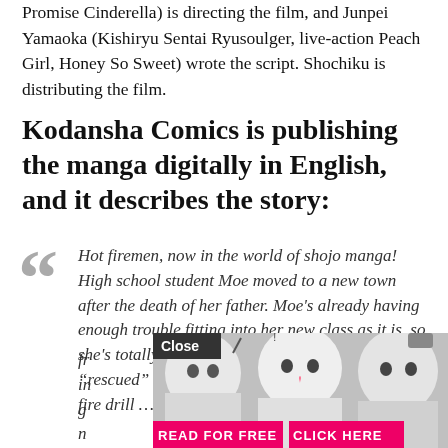Promise Cinderella) is directing the film, and Junpei Yamaoka (Kishiryu Sentai Ryusoulger, live-action Peach Girl, Honey So Sweet) wrote the script. Shochiku is distributing the film.
Kodansha Comics is publishing the manga digitally in English, and it describes the story:
Hot firemen, now in the world of shojo manga! High school student Moe moved to a new town after the death of her father. Moe's already having enough trouble fitting into her new class as it is, so she's totally mortified when she ends up being "rescued" by local firefighter Kyōsuke during a fire drill … in fr[...] rassing i[...] use g[...] ge she n[...] aims to leave her loner days behind. Not to mention she's
[Figure (illustration): Manga advertisement overlay showing anime-style characters with Close button, READ FOR FREE and CLICK HERE buttons in pink]